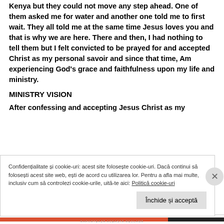Kenya but they could not move any step ahead.  One of them asked me for water and another one told me to first wait. They all told me at the same time Jesus loves you and that is why we are here. There and then, I had nothing to tell them but I felt convicted to be prayed for and accepted Christ as my personal savoir and since that time, Am experiencing God's grace and faithfulness upon my life and ministry.
MINISTRY VISION
After confessing and accepting Jesus Christ as my
Confidențialitate și cookie-uri: acest site folosește cookie-uri. Dacă continui să folosești acest site web, ești de acord cu utilizarea lor. Pentru a afla mai multe, inclusiv cum să controlezi cookie-urile, uită-te aici: Politică cookie-uri
Închide și acceptă